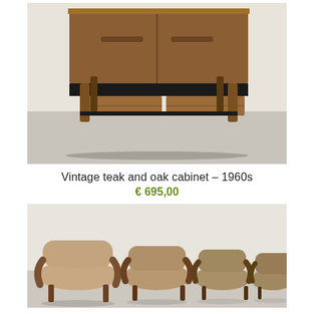[Figure (photo): Vintage teak and oak cabinet from the 1960s, showing wooden frame with sliding doors on top and two drawers at bottom, photographed against a grey concrete floor background.]
Vintage teak and oak cabinet – 1960s
€ 695,00
[Figure (photo): Row of vintage mid-century modern chairs with curved tan/beige upholstered seats and dark wooden frames, shown in a line receding into the background.]